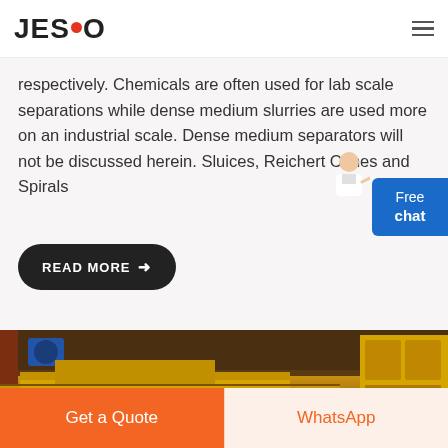JESCO
respectively. Chemicals are often used for lab scale separations while dense medium slurries are used more on an industrial scale. Dense medium separators will not be discussed herein. Sluices, Reichert Cones and Spirals
READ MORE →
[Figure (photo): Industrial yellow mining/separation equipment in a factory or plant setting. Large yellow metal structures visible with blue motor and background machinery.]
Get a Quote
WhatsApp